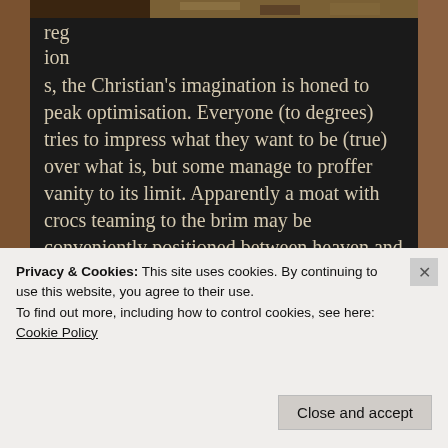[Figure (photo): Partial view of a nature/wildlife photo strip at the top of the page]
regions, the Christian's imagination is honed to peak optimisation. Everyone (to degrees) tries to impress what they want to be (true) over what is, but some manage to proffer vanity to its limit. Apparently a moat with crocs teaming to the brim may be conveniently positioned between heaven and heck in order to split oblivion into two sacred but by no means related domains. That, believe it or not, was a genuine piece of feedback I had received in response to the heaven/hell dilemma. I don't know why I didn't see it before. Ok, I am aware the Victorian era
Privacy & Cookies: This site uses cookies. By continuing to use this website, you agree to their use.
To find out more, including how to control cookies, see here:
Cookie Policy
Close and accept